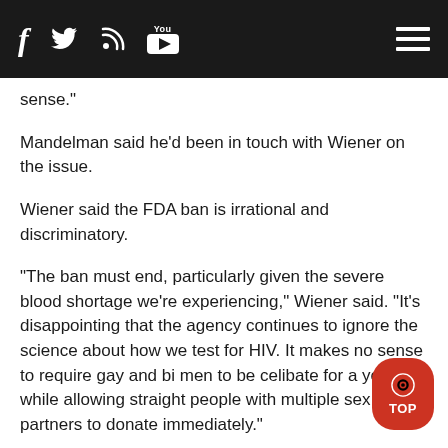Navigation bar with social icons (Facebook, Twitter, RSS, YouTube) and hamburger menu
sense."
Mandelman said he'd been in touch with Wiener on the issue.
Wiener said the FDA ban is irrational and discriminatory.
"The ban must end, particularly given the severe blood shortage we're experiencing," Wiener said. "It's disappointing that the agency continues to ignore the science about how we test for HIV. It makes no sense to require gay and bi men to be celibate for a year, while allowing straight people with multiple sex partners to donate immediately."
Mandelman said lifting the ban makes sense.